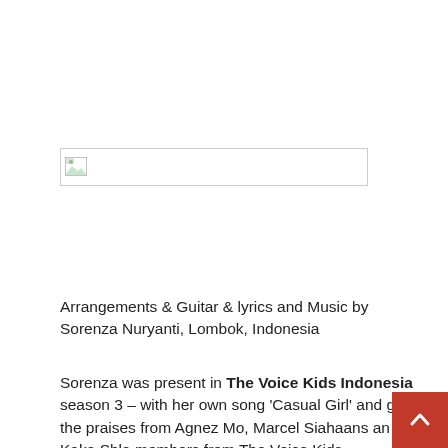[Figure (other): Broken/placeholder image element with small icon in top-left corner, outlined box]
Arrangements & Guitar & lyrics and Music by Sorenza Nuryanti, Lombok, Indonesia
Sorenza was present in The Voice Kids Indonesia season 3 – with her own song ‘Casual Girl’ and got the praises from Agnez Mo, Marcel Siahaans and Kaka Shla (members from The Voice Kids...